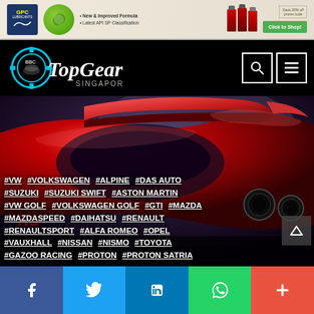[Figure (screenshot): GPC Lubricants advertisement banner with logo, green circle icon, product text, oil bottles, and Click to Shop CTA button]
[Figure (logo): BBC TopGear Singapore logo on black navigation bar with search and menu icons]
[Figure (photo): Red sports car rear spoiler and body close-up on dark purple/grey background]
#VW #VOLKSWAGEN #ALPINE #DAS AUTO #SUZUKI #SUZUKI SWIFT #ASTON MARTIN #VW GOLF #VOLKSWAGEN GOLF #GTI #MAZDA #MAZDASPEED #DAIHATSU #RENAULT #RENAULTSPORT #ALFA ROMEO #OPEL #VAUXHALL #NISSAN #NISMO #TOYOTA #GAZOO RACING #PROTON #PROTON SATRIA
[Figure (screenshot): Social sharing bar with Facebook, Twitter, LinkedIn, WhatsApp, and More buttons]